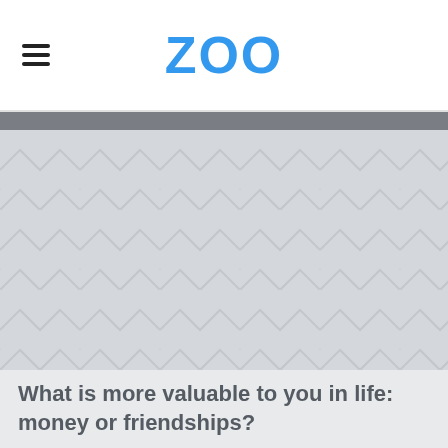ZOO
[Figure (photo): Large image placeholder with light gray background and diagonal chevron/herringbone pattern texture]
What is more valuable to you in life: money or friendships?